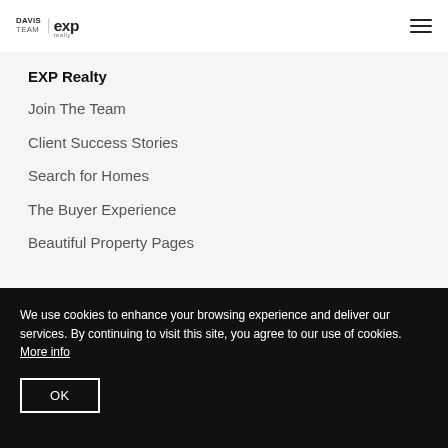DAVIS TEAM | exp — navigation menu icon
EXP Realty
Join The Team
Client Success Stories
Search for Homes
The Buyer Experience
Beautiful Property Pages
We use cookies to enhance your browsing experience and deliver our services. By continuing to visit this site, you agree to our use of cookies. More info
OK